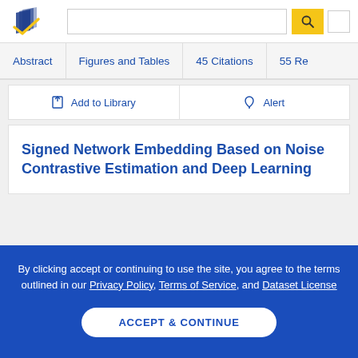[Figure (logo): Semantic Scholar logo - stylized book pages in navy blue and gold checkmark]
Abstract | Figures and Tables | 45 Citations | 55 Re...
Add to Library  Alert
Signed Network Embedding Based on Noise Contrastive Estimation and Deep Learning
By clicking accept or continuing to use the site, you agree to the terms outlined in our Privacy Policy, Terms of Service, and Dataset License
ACCEPT & CONTINUE